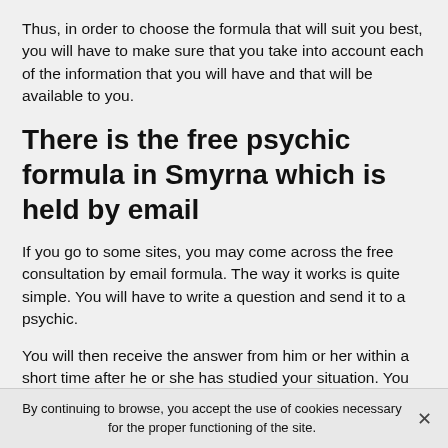Thus, in order to choose the formula that will suit you best, you will have to make sure that you take into account each of the information that you will have and that will be available to you.
There is the free psychic formula in Smyrna which is held by email
If you go to some sites, you may come across the free consultation by email formula. The way it works is quite simple. You will have to write a question and send it to a psychic.
You will then receive the answer from him or her within a short time after he or she has studied your situation. You should know that his or her analysis can be based only on what he or she retains or by performing an oracle, tarot or
By continuing to browse, you accept the use of cookies necessary for the proper functioning of the site.